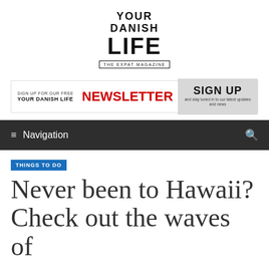[Figure (logo): Your Danish Life - The Expat Magazine logo, stacked text in black bold capitals]
[Figure (infographic): Newsletter signup banner: 'Sign up for our free Your Danish Life NEWSLETTER' with a grey SIGN UP button and subtext 'and stay tuned in to our latest updates and news']
≡ Navigation
THINGS TO DO
Never been to Hawaii? Check out the waves of